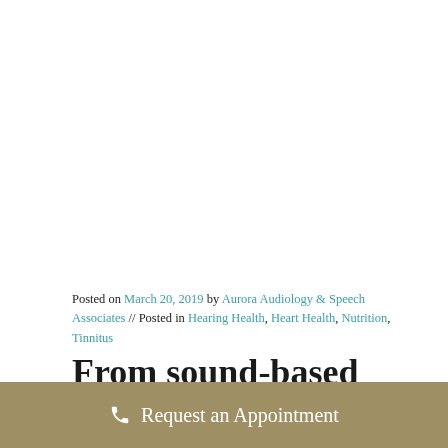Posted on March 20, 2019 by Aurora Audiology & Speech Associates // Posted in Hearing Health, Heart Health, Nutrition, Tinnitus
From sound-based therapies to
Request an Appointment